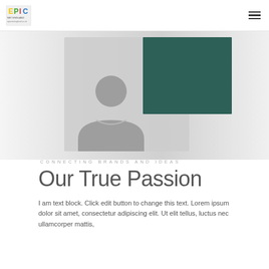EPIC logo | hamburger menu icon
[Figure (illustration): Website hero section with a grey placeholder image showing a generic person/avatar silhouette on the left and a dark teal/green rectangle overlapping on the upper right.]
CONNECTING BRANDS AND IDEAS
Our True Passion
I am text block. Click edit button to change this text. Lorem ipsum dolor sit amet, consectetur adipiscing elit. Ut elit tellus, luctus nec ullamcorper mattis, pulvinar dapibus leo.